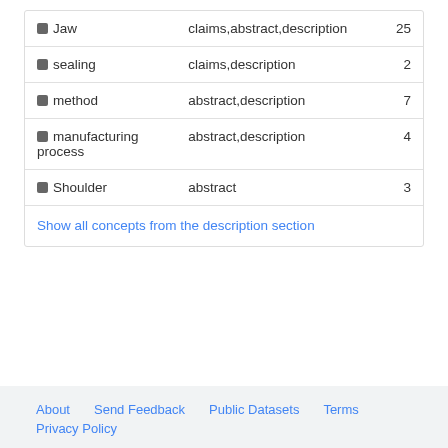| Concept | Sections | Count |
| --- | --- | --- |
| Jaw | claims,abstract,description | 25 |
| sealing | claims,description | 2 |
| method | abstract,description | 7 |
| manufacturing process | abstract,description | 4 |
| Shoulder | abstract | 3 |
Show all concepts from the description section
About   Send Feedback   Public Datasets   Terms
Privacy Policy